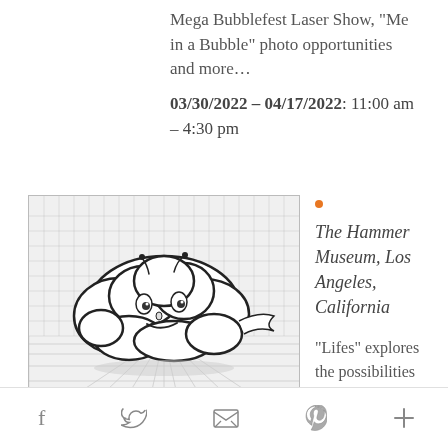Mega Bubblefest Laser Show, “Me in a Bubble” photo opportunities and more…
03/30/2022 – 04/17/2022: 11:00 am – 4:30 pm
[Figure (illustration): Black and white illustration of a cloud-like creature with a face, on a grid/perspective background]
The Hammer Museum, Los Angeles, California
“Lifes” explores the possibilities and pitfalls of interdisciplinary artmaking.
f  ‹twitter›  ‹email›  p  +